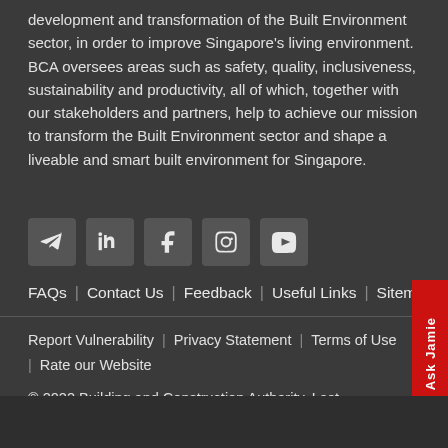development and transformation of the Built Environment sector, in order to improve Singapore's living environment. BCA oversees areas such as safety, quality, inclusiveness, sustainability and productivity, all of which, together with our stakeholders and partners, help to achieve our mission to transform the Built Environment sector and shape a liveable and smart built environment for Singapore.
[Figure (other): Social media icons: Telegram, LinkedIn, Facebook, Instagram, YouTube]
FAQs | Contact Us | Feedback | Useful Links | Sitemap
Report Vulnerability | Privacy Statement | Terms of Use | Rate our Website
© 2022 Building and Construction Authority. Last Updated: 11 August 2022